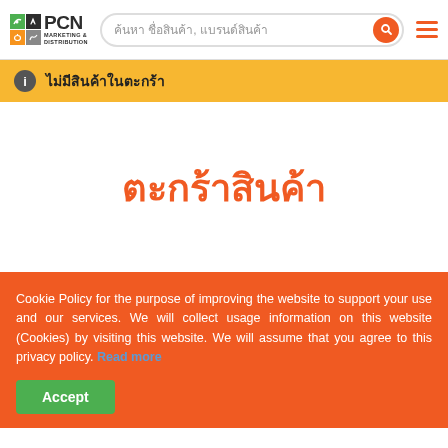[Figure (logo): PCN Marketing & Distribution logo with colored grid squares and text]
ค้นหา ชื่อสินค้า, แบรนด์สินค้า
ไม่มีสินค้าในตะกร้า
ตะกร้าสินค้า
Cookie Policy for the purpose of improving the website to support your use and our services. We will collect usage information on this website (Cookies) by visiting this website. We will assume that you agree to this privacy policy. Read more
Accept